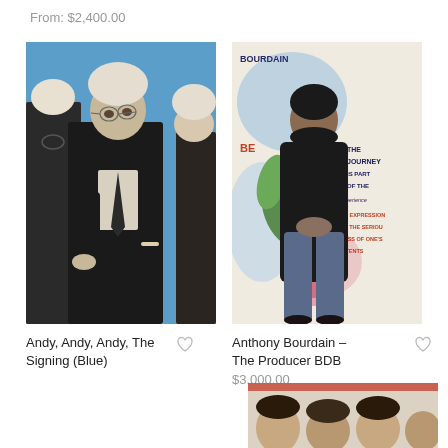From: $2,400.00
[Figure (photo): Painting of Andy Warhol with multiple figures on blue background, showing a signing scene]
Andy, Andy, Andy, The Signing (Blue)
[Figure (photo): Mixed media painting of Anthony Bourdain standing against a colorful illustrated background with text reading 'The Journey is part of the experience, an expression of the seriousness of one's intents']
Anthony Bourdain – The Producer BDB
$3,000.00
[Figure (photo): Partial view of another artwork at the bottom of the page showing faces]